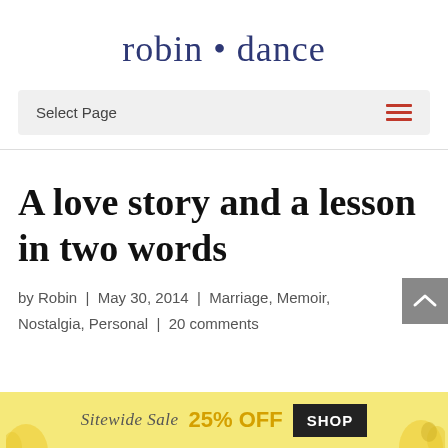robin • dance
Select Page
A love story and a lesson in two words
by Robin | May 30, 2014 | Marriage, Memoir, Nostalgia, Personal | 20 comments
[Figure (infographic): Advertisement banner: Sitewide Sale 25% OFF SHOP with DaySprings logo, yellow background]